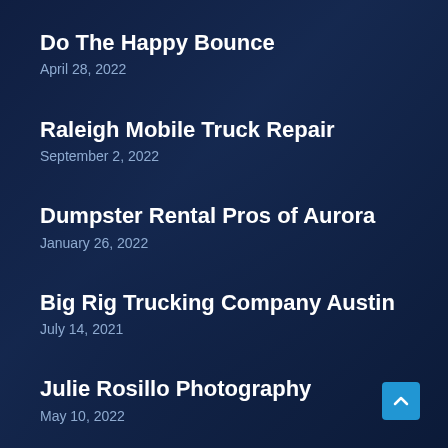Do The Happy Bounce
April 28, 2022
Raleigh Mobile Truck Repair
September 2, 2022
Dumpster Rental Pros of Aurora
January 26, 2022
Big Rig Trucking Company Austin
July 14, 2021
Julie Rosillo Photography
May 10, 2022